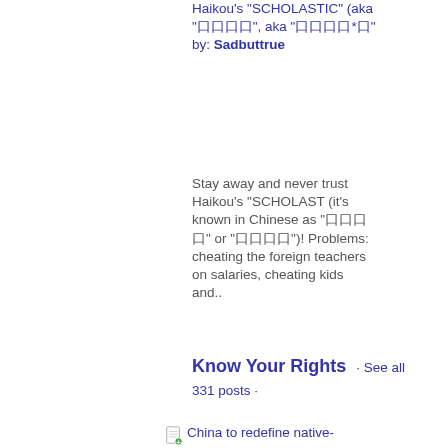Haikou's "SCHOLASTIC" (aka "口口口口", aka "口口口口*口"  by: Sadbuttrue
Stay away and never trust Haikou's "SCHOLAST (it's known in Chinese as "口口口口" or "口口口口")! Problems: cheating the foreign teachers on salaries, cheating kids and..
Know Your Rights · See all 331 posts ·
China to redefine native-